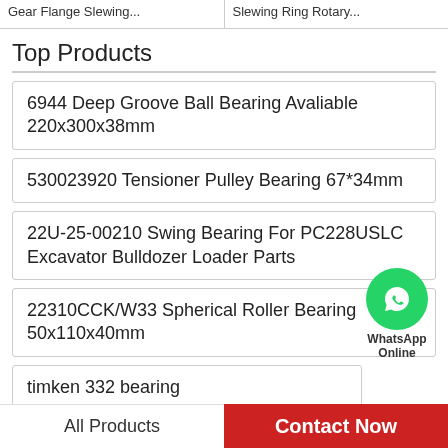Gear Flange Slewing... | Slewing Ring Rotary...
Top Products
6944 Deep Groove Ball Bearing Avaliable 220x300x38mm
530023920 Tensioner Pulley Bearing 67*34mm
22U-25-00210 Swing Bearing For PC228USLC Excavator Bulldozer Loader Parts
22310CCK/W33 Spherical Roller Bearing 50x110x40mm
timken 332 bearing
[Figure (illustration): WhatsApp Online contact bubble with phone icon]
All Products | Contact Now